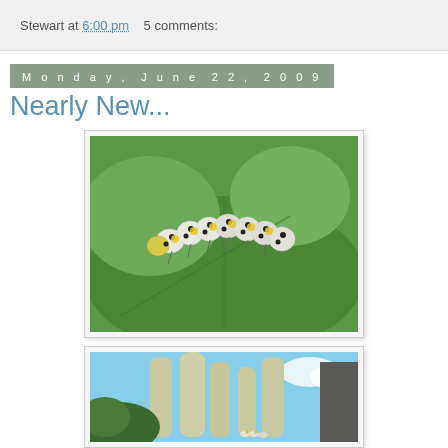Stewart at 6:00 pm   5 comments:
Monday, June 22, 2009
Nearly New...
[Figure (photo): Close-up photo of a caterpillar with yellow and black spots on a green leaf]
[Figure (photo): Photo of caterpillars on mullein plant with blue sky in background]